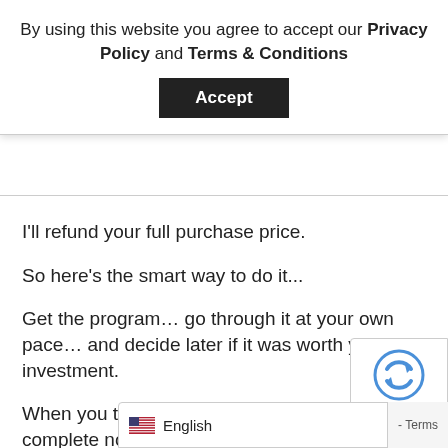By using this website you agree to accept our Privacy Policy and Terms & Conditions
Accept
I'll refund your full purchase price.
So here's the smart way to do it...
Get the program... go through it at your own pace... and decide later if it was worth your investment.
When you take that approach that makes this a complete no-brainer, wouldn't you agree?
Nothing is better than getting a ridiculously good deal on your shipping containers.
It's one of those things that sw...
[Figure (logo): Google reCAPTCHA badge icon bottom right]
English - Terms